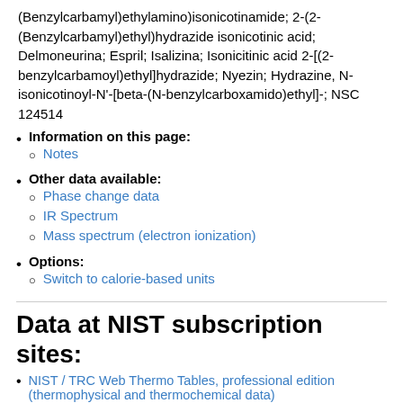(Benzylcarbamyl)ethylamino)isonicotinamide; 2-(2-(Benzylcarbamyl)ethyl)hydrazide isonicotinic acid; Delmoneurina; Espril; Isalizina; Isonicitinic acid 2-[(2-benzylcarbamoyl)ethyl]hydrazide; Nyezin; Hydrazine, N-isonicotinoyl-N'-[beta-(N-benzylcarboxamido)ethyl]-; NSC 124514
Information on this page:
Notes
Other data available:
Phase change data
IR Spectrum
Mass spectrum (electron ionization)
Options:
Switch to calorie-based units
Data at NIST subscription sites:
NIST / TRC Web Thermo Tables, professional edition (thermophysical and thermochemical data)